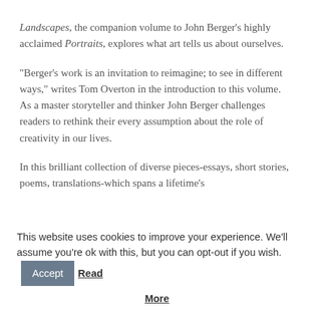Landscapes, the companion volume to John Berger's highly acclaimed Portraits, explores what art tells us about ourselves.
“Berger’s work is an invitation to reimagine; to see in different ways,” writes Tom Overton in the introduction to this volume. As a master storyteller and thinker John Berger challenges readers to rethink their every assumption about the role of creativity in our lives.
In this brilliant collection of diverse pieces-essays, short stories, poems, translations-which spans a lifetime’s
This website uses cookies to improve your experience. We'll assume you're ok with this, but you can opt-out if you wish. Accept Read More